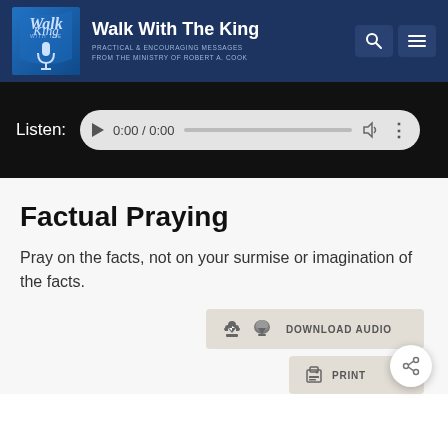Walk With The King — PRACTICAL & ENCOURAGING MESSAGES FROM THE MINISTRY OF ROBERT A. COOK
[Figure (screenshot): Audio player showing 0:00 / 0:00 with play button, progress bar, volume icon and options]
Factual Praying
Pray on the facts, not on your surmise or imagination of the facts.
[Figure (screenshot): DOWNLOAD AUDIO button and PRINT button with share circle icon]